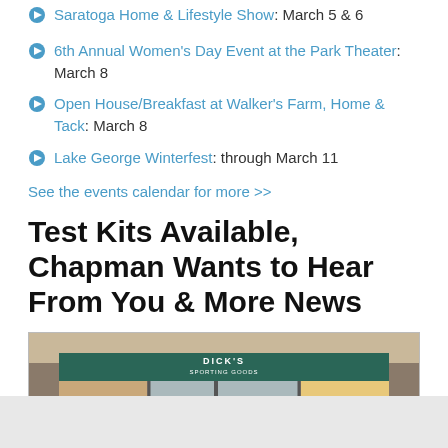Saratoga Home & Lifestyle Show: March 5 & 6
6th Annual Women's Day Event at the Park Theater: March 8
Open House/Breakfast at Walker's Farm, Home & Tack: March 8
Lake George Winterfest: through March 11
See the events calendar for more >>
Test Kits Available, Chapman Wants to Hear From You & More News
[Figure (photo): Storefront photo showing a Dick's Sporting Goods store entrance inside what appears to be a mall.]